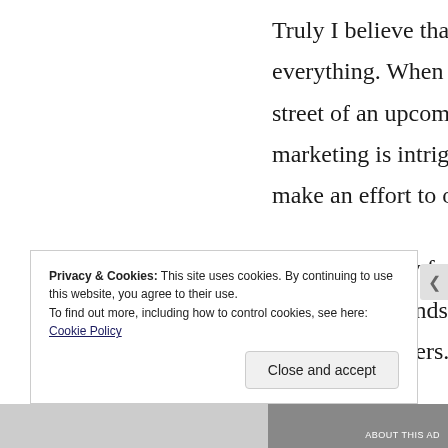Truly I believe that marketing is everything. When the word is on the street of an upcoming release and the marketing is intriguing, readers will make an effort to obtain a copy.

I sent out many free paperbacks and got great responds from every single one of the readers.
Privacy & Cookies: This site uses cookies. By continuing to use this website, you agree to their use.
To find out more, including how to control cookies, see here: Cookie Policy